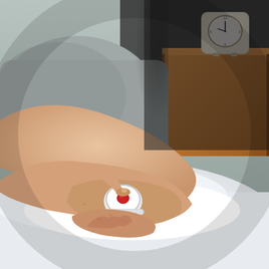[Figure (photo): An elderly person lying in bed pressing a medical alert wristband button with their finger. The wristband device is white with a red emergency button on top. In the background is a wooden nightstand with a small white analog alarm clock. The person is wearing a grey long-sleeve shirt and is resting on white bedding/pillow.]